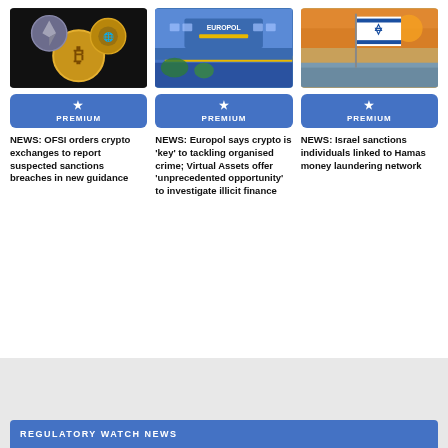[Figure (photo): Cryptocurrency coins including Bitcoin and Ethereum on dark background]
[Figure (photo): Europol building exterior with blue facade and yellow stripe]
[Figure (photo): Israeli flag waving against sunset sky]
PREMIUM
PREMIUM
PREMIUM
NEWS: OFSI orders crypto exchanges to report suspected sanctions breaches in new guidance
NEWS: Europol says crypto is 'key' to tackling organised crime; Virtual Assets offer 'unprecedented opportunity' to investigate illicit finance
NEWS: Israel sanctions individuals linked to Hamas money laundering network
REGULATORY WATCH NEWS